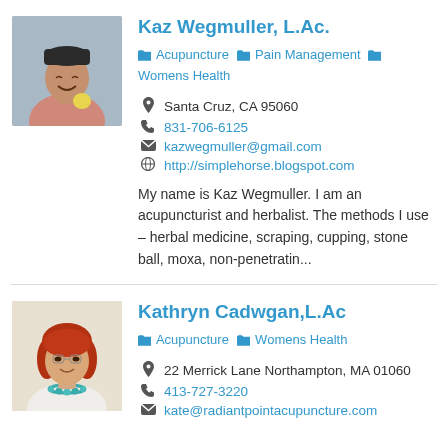[Figure (photo): Portrait photo of Kaz Wegmuller, person wearing a dark beanie hat, smiling, outdoors]
Kaz Wegmuller, L.Ac.
Acupuncture  Pain Management  Womens Health
Santa Cruz, CA 95060
831-706-6125
kazwegmuller@gmail.com
http://simplehorse.blogspot.com
My name is Kaz Wegmuller. I am an acupuncturist and herbalist. The methods I use – herbal medicine, scraping, cupping, stone ball, moxa, non-penetratin...
[Figure (photo): Portrait photo of Kathryn Cadwgan, woman with red/auburn hair, wearing a turquoise necklace]
Kathryn Cadwgan,L.Ac
Acupuncture  Womens Health
22 Merrick Lane Northampton, MA 01060
413-727-3220
kate@radiantpointacupuncture.com